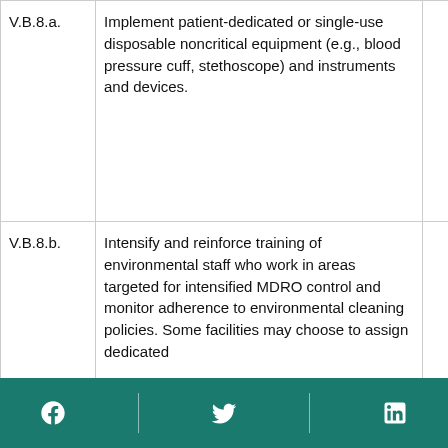| V.B.8.a. | Implement patient-dedicated or single-use disposable noncritical equipment (e.g., blood pressure cuff, stethoscope) and instruments and devices. | IB |
| V.B.8.b. | Intensify and reinforce training of environmental staff who work in areas targeted for intensified MDRO control and monitor adherence to environmental cleaning policies. Some facilities may choose to assign dedicated | IB |
Social media icons: Facebook, Twitter, LinkedIn